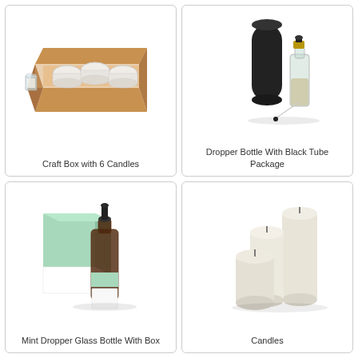[Figure (illustration): Craft box with 6 white tealight candles inside a brown cardboard box, open top view]
Craft Box with 6 Candles
[Figure (illustration): Dropper bottle with black tube package — a matte black cylindrical tube next to a glass dropper bottle with gold and black dropper cap]
Dropper Bottle With Black Tube Package
[Figure (illustration): Mint dropper glass bottle with box — a dark amber glass dropper bottle with white label and mint green/white packaging box]
Mint Dropper Glass Bottle With Box
[Figure (illustration): Three cream/ivory pillar candles of different heights grouped together]
Candles